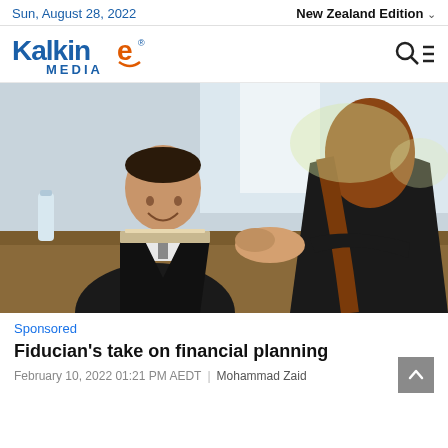Sun, August 28, 2022 | New Zealand Edition
[Figure (logo): Kalkine Media logo — stylized text 'Kalkine' in blue with orange swirl 'e', and 'MEDIA' below in blue]
[Figure (photo): Two business professionals shaking hands across a desk in an office meeting setting. The man on the left is wearing a black suit and smiling; the woman on the right has auburn hair and is in a dark jacket. A water bottle and notebook are on the desk.]
Sponsored
Fiducian's take on financial planning
February 10, 2022 01:21 PM AEDT | Mohammad Zaid